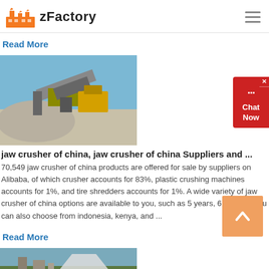zFactory
Read More
[Figure (photo): Industrial jaw crusher machinery at a mining/quarrying site with gravel piles and yellow equipment under blue sky]
jaw crusher of china, jaw crusher of china Suppliers and ...
70,549 jaw crusher of china products are offered for sale by suppliers on Alibaba, of which crusher accounts for 83%, plastic crushing machines accounts for 1%, and tire shredders accounts for 1%. A wide variety of jaw crusher of china options are available to you, such as 5 years, 6 months. You can also choose from indonesia, kenya, and ...
Read More
[Figure (photo): Construction or mining site with equipment and trees visible under blue sky]